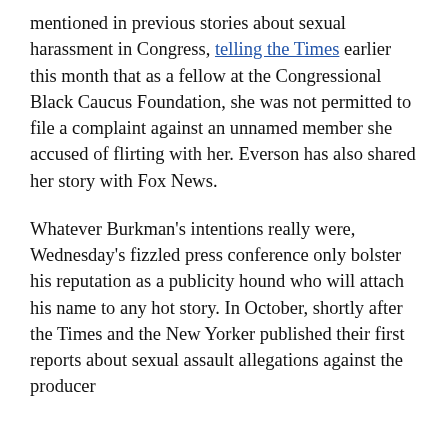mentioned in previous stories about sexual harassment in Congress, telling the Times earlier this month that as a fellow at the Congressional Black Caucus Foundation, she was not permitted to file a complaint against an unnamed member she accused of flirting with her. Everson has also shared her story with Fox News.
Whatever Burkman's intentions really were, Wednesday's fizzled press conference only bolster his reputation as a publicity hound who will attach his name to any hot story. In October, shortly after the Times and the New Yorker published their first reports about sexual assault allegations against the producer